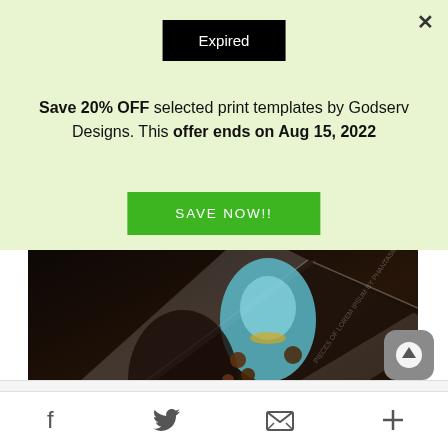[Figure (screenshot): Expired badge — black rectangle with white text 'Expired']
Save 20% OFF selected print templates by Godserv Designs. This offer ends on Aug 15, 2022
[Figure (other): Green SAVE NOW!! button]
[Figure (photo): Product photo of a dark fantasy-themed Christmas cantata flyer showing a colorful mystical character on a dark angled background]
Noel Christmas Cantata Flyer Template
$14.00
[Figure (other): Scroll-up button — rounded grey square with up arrow icon]
[Figure (other): Social media footer icons: Facebook, Twitter, Email/envelope, Plus sign]